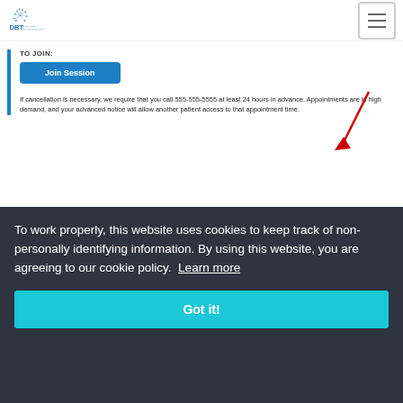[Figure (logo): DBT Psychological Services of Long Island logo with dandelion graphic]
TO JOIN:
[Figure (screenshot): Blue 'Join Session' button]
[Figure (illustration): Red arrow pointing downward to the right]
If cancellation is necessary, we require that you call 555-555-5555 at least 24 hours in advance. Appointments are in high demand, and your advanced notice will allow another patient access to that appointment time.
To work properly, this website uses cookies to keep track of non-personally identifying information. By using this website, you are agreeing to our cookie policy. Learn more
[Figure (screenshot): Teal 'Got it!' button]